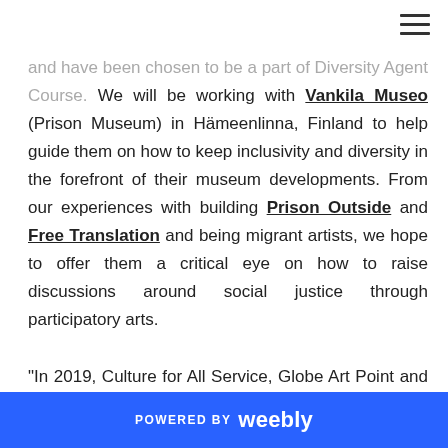and have been chosen to be a part of Diversity Agent Course.  We will be working with Vankila Museo (Prison Museum) in Hämeenlinna, Finland to help guide them on how to keep inclusivity and diversity in the forefront of their museum developments.  From our experiences with building Prison Outside and Free Translation and being migrant artists, we hope to offer them a critical eye on how to raise discussions around social justice through participatory arts.

"In 2019, Culture for All Service, Globe Art Point and the Center for Cultural Policy Research Cupore organize a Diversity Agent Course for cultural workers and artists of
POWERED BY weebly